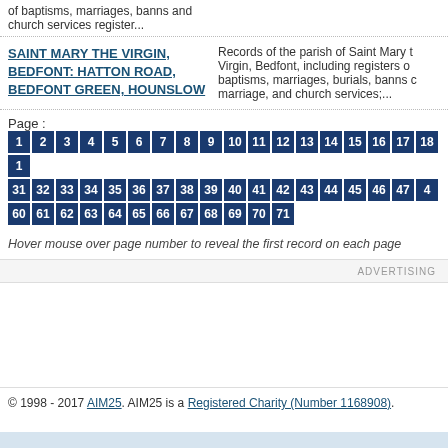of baptisms, marriages, banns and church services register...
SAINT MARY THE VIRGIN, BEDFONT: HATTON ROAD, BEDFONT GREEN, HOUNSLOW
Records of the parish of Saint Mary the Virgin, Bedfont, including registers of baptisms, marriages, burials, banns of marriage, and church services;...
Page : 1 2 3 4 5 6 7 8 9 10 11 12 13 14 15 16 17 18 ... 31 32 33 34 35 36 37 38 39 40 41 42 43 44 45 46 47 ... 60 61 62 63 64 65 66 67 68 69 70 71
Hover mouse over page number to reveal the first record on each page
© 1998 - 2017 AIM25. AIM25 is a Registered Charity (Number 1168908).